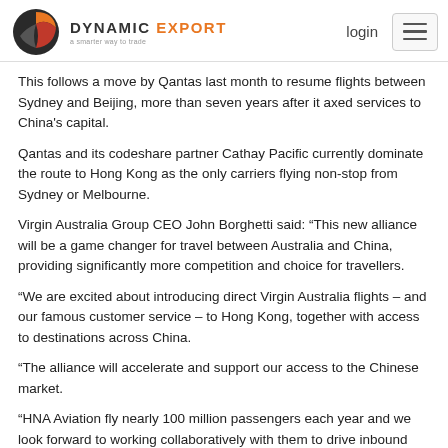DYNAMIC EXPORT — a smarter way to trade | login
This follows a move by Qantas last month to resume flights between Sydney and Beijing, more than seven years after it axed services to China's capital.
Qantas and its codeshare partner Cathay Pacific currently dominate the route to Hong Kong as the only carriers flying non-stop from Sydney or Melbourne.
Virgin Australia Group CEO John Borghetti said: “This new alliance will be a game changer for travel between Australia and China, providing significantly more competition and choice for travellers.
“We are excited about introducing direct Virgin Australia flights – and our famous customer service – to Hong Kong, together with access to destinations across China.
“The alliance will accelerate and support our access to the Chinese market.
“HNA Aviation fly nearly 100 million passengers each year and we look forward to working collaboratively with them to drive inbound visitation to Australia, resulting in significant benefits for